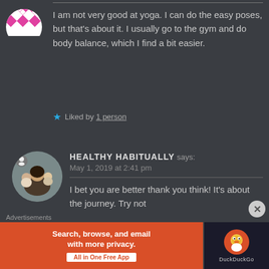[Figure (illustration): Pink and white diamond/chevron pattern avatar icon, partially cropped at top-left]
I am not very good at yoga. I can do the easy poses, but that's about it. I usually go to the gym and do body balance, which I find a bit easier.
Liked by 1 person
[Figure (photo): Circular profile photo of a woman with children, dark haired woman holding babies/toddlers]
HEALTHY HABITUALLY says:
May 1, 2019 at 2:41 pm
I bet you are better thank you think! It's about the journey. Try not
Advertisements
[Figure (screenshot): DuckDuckGo advertisement banner: 'Search, browse, and email with more privacy. All in One Free App' on orange background with DuckDuckGo logo on dark background]